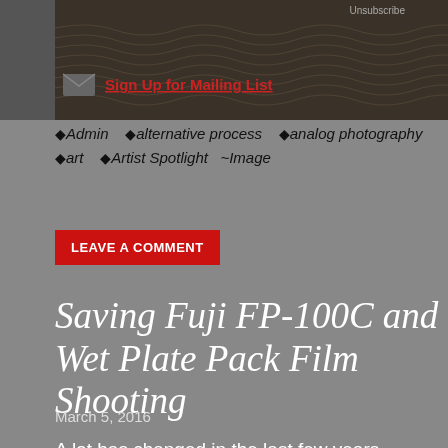[Figure (screenshot): Dark brown navigation bar with wave/ripple pattern, envelope icon, 'Unsubscribe' text, and red 'Sign Up for Mailing List' link]
♦Admin  ♦alternative process  ♦analog photography  ♦art  ♦Artist Spotlight  ~Image
LEAVE A COMMENT
Saving Fuji FP-100C and Wet Plate Pack Film Shooting
March 5, 2016
A lot has changed in the last few years regarding the survival of film, photographers are now making direct appeals to manufacturers and gaining support from other shooters in a global effort to save our materials. Perfect examples of this success: Impossible Project instant